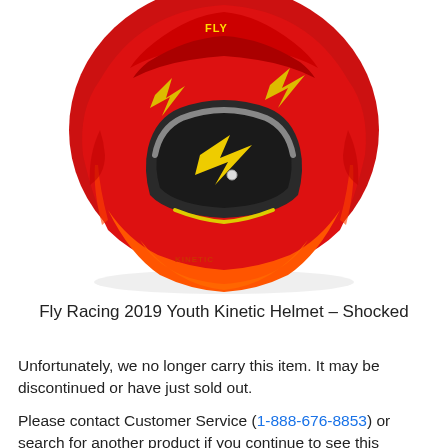[Figure (photo): Red and orange Fly Racing 2019 Youth Kinetic Helmet – Shocked motocross helmet with yellow lightning bolt graphics, photographed on white background at a three-quarter front angle.]
Fly Racing 2019 Youth Kinetic Helmet – Shocked
Unfortunately, we no longer carry this item. It may be discontinued or have just sold out.
Please contact Customer Service (1-888-676-8853) or search for another product if you continue to see this